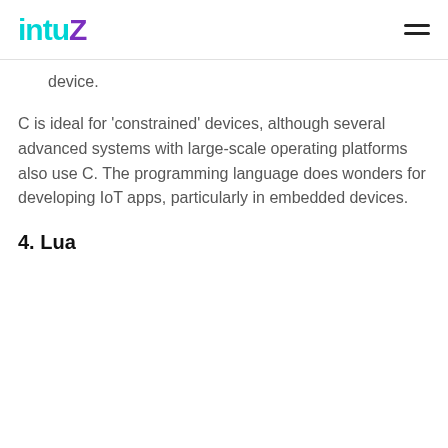intuz
device.
C is ideal for 'constrained' devices, although several advanced systems with large-scale operating platforms also use C. The programming language does wonders for developing IoT apps, particularly in embedded devices.
4. Lua